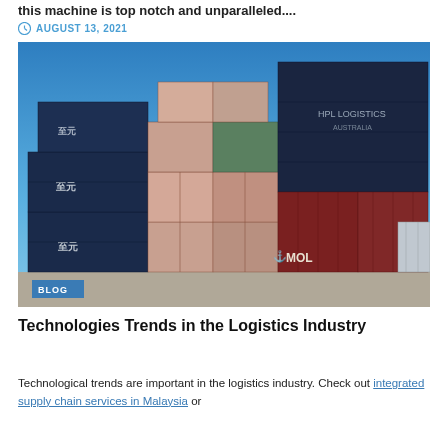this machine is top notch and unparalleled....
AUGUST 13, 2021
[Figure (photo): Stacked shipping containers at a port, showing blue, red/maroon, and multicolored containers against a blue sky. A blue label reading 'BLOG' is overlaid at the bottom left.]
Technologies Trends in the Logistics Industry
Technological trends are important in the logistics industry. Check out integrated supply chain services in Malaysia or